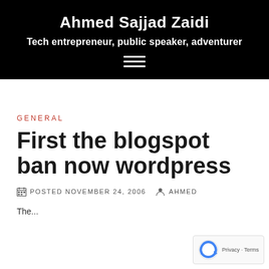Ahmed Sajjad Zaidi
Tech entrepreneur, public speaker, adventurer
GENERAL
First the blogspot ban now wordpress
POSTED NOVEMBER 24, 2006   AHMED
The...